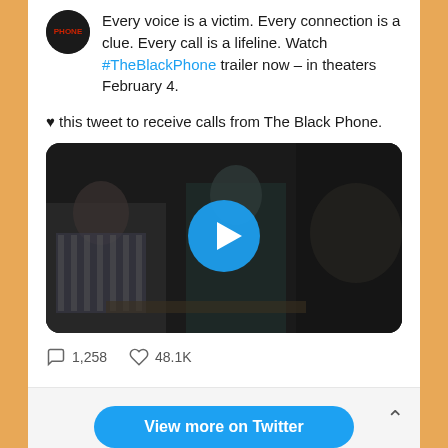Every voice is a victim. Every connection is a clue. Every call is a lifeline. Watch #TheBlackPhone trailer now – in theaters February 4.
🖤 this tweet to receive calls from The Black Phone.
[Figure (screenshot): Video thumbnail showing two people in a dark scene with a blue play button overlay]
1,258 comments   48.1K likes
View more on Twitter
Learn more about privacy on Twitter